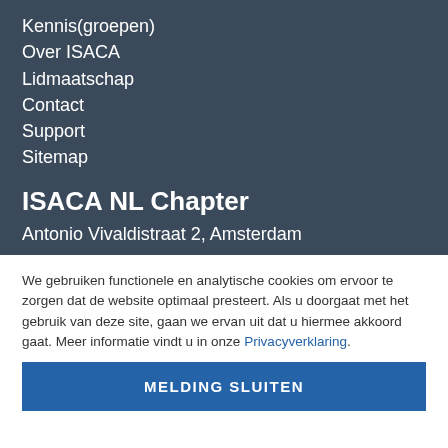Kennis(groepen)
Over ISACA
Lidmaatschap
Contact
Support
Sitemap
ISACA NL Chapter
Antonio Vivaldistraat 2, Amsterdam
We gebruiken functionele en analytische cookies om ervoor te zorgen dat de website optimaal presteert. Als u doorgaat met het gebruik van deze site, gaan we ervan uit dat u hiermee akkoord gaat. Meer informatie vindt u in onze Privacyverklaring.
MELDING SLUITEN